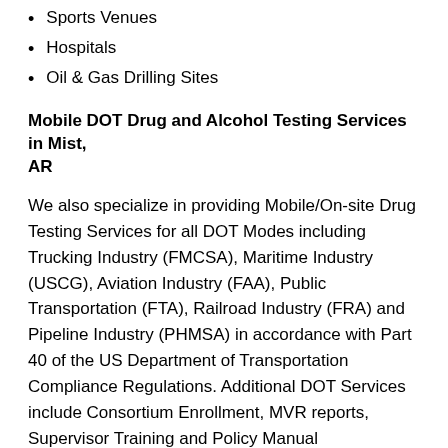Sports Venues
Hospitals
Oil & Gas Drilling Sites
Mobile DOT Drug and Alcohol Testing Services in Mist, AR
We also specialize in providing Mobile/On-site Drug Testing Services for all DOT Modes including Trucking Industry (FMCSA), Maritime Industry (USCG), Aviation Industry (FAA), Public Transportation (FTA), Railroad Industry (FRA) and Pipeline Industry (PHMSA) in accordance with Part 40 of the US Department of Transportation Compliance Regulations. Additional DOT Services include Consortium Enrollment, MVR reports, Supervisor Training and Policy Manual Development. In addition, we offer a complete DOT Compliance Program for single operators and small trucking companies.